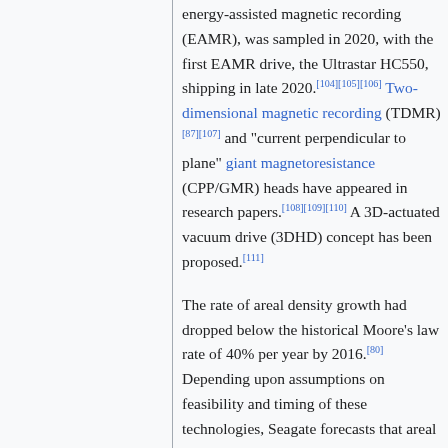energy-assisted magnetic recording (EAMR), was sampled in 2020, with the first EAMR drive, the Ultrastar HC550, shipping in late 2020.[104][105][106] Two-dimensional magnetic recording (TDMR)[87][107] and "current perpendicular to plane" giant magnetoresistance (CPP/GMR) heads have appeared in research papers.[108][109][110] A 3D-actuated vacuum drive (3DHD) concept has been proposed.[111]
The rate of areal density growth had dropped below the historical Moore's law rate of 40% per year by 2016.[80] Depending upon assumptions on feasibility and timing of these technologies, Seagate forecasts that areal density will grow 20% per year during 2020–2034.[48]